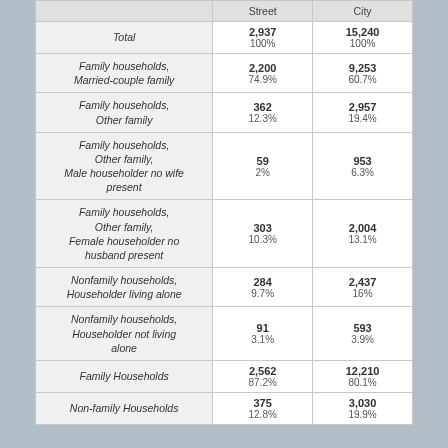|  | Street | City |
| --- | --- | --- |
| Total | 2,937
100% | 15,240
100% |
| Family households, Married-couple family | 2,200
74.9% | 9,253
60.7% |
| Family households, Other family | 362
12.3% | 2,957
19.4% |
| Family households, Other family, Male householder no wife present | 59
2% | 953
6.3% |
| Family households, Other family, Female householder no husband present | 303
10.3% | 2,004
13.1% |
| Nonfamily households, Householder living alone | 284
9.7% | 2,437
16% |
| Nonfamily households, Householder not living alone | 91
3.1% | 593
3.9% |
| Family Households | 2,562
87.2% | 12,210
80.1% |
| Non-family Households | 375
12.8% | 3,030
19.9% |